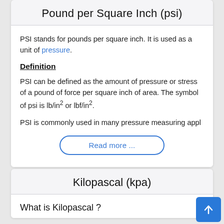Pound per Square Inch (psi)
PSI stands for pounds per square inch. It is used as a unit of pressure.
Definition
PSI can be defined as the amount of pressure or stress of a pound of force per square inch of area. The symbol of psi is lb/in² or lbf/in².
PSI is commonly used in many pressure measuring appl
Read more ...
Kilopascal (kpa)
What is Kilopascal ?